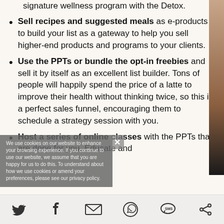signature wellness program with the Detox.
Sell recipes and suggested meals as e-products to build your list as a gateway to help you sell higher-end products and programs to your clients.
Use the PPTs or bundle the opt-in freebies and sell it by itself as an excellent list builder. Tons of people will happily spend the price of a latte to improve their health without thinking twice, so this is a perfect sales funnel, encouraging them to schedule a strategy session with you.
Host a series of online classes with the PPTs that are done for you. Educate and
We use cookies on our website to enhance your browsing experience. If you continue to use our website, we assume that you are happy for us to do this. To understand about how we use cookies or amend your preferences, please see our privacy policy.
Social share icons: Twitter, Facebook, Email, WhatsApp, SMS, Other